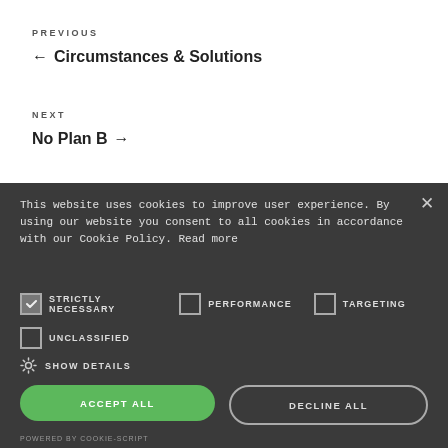PREVIOUS
← Circumstances & Solutions
NEXT
No Plan B →
This website uses cookies to improve user experience. By using our website you consent to all cookies in accordance with our Cookie Policy. Read more
STRICTLY NECESSARY  PERFORMANCE  TARGETING  UNCLASSIFIED  SHOW DETAILS
ACCEPT ALL
DECLINE ALL
POWERED BY COOKIE-SCRIPT